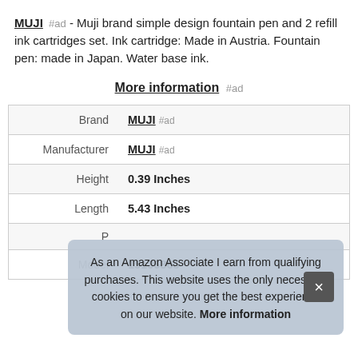MUJI #ad - Muji brand simple design fountain pen and 2 refill ink cartridges set. Ink cartridge: Made in Austria. Fountain pen: made in Japan. Water base ink.
More information #ad
|  |  |
| --- | --- |
| Brand | MUJI #ad |
| Manufacturer | MUJI #ad |
| Height | 0.39 Inches |
| Length | 5.43 Inches |
| P |  |
| Model | 15136865 |
As an Amazon Associate I earn from qualifying purchases. This website uses the only necessary cookies to ensure you get the best experience on our website. More information